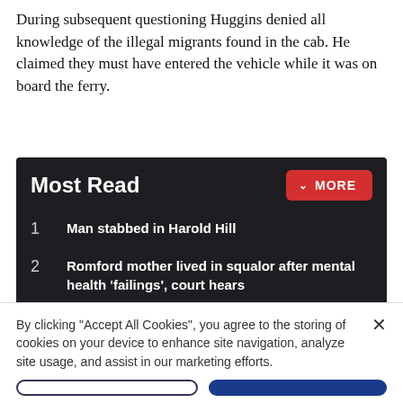During subsequent questioning Huggins denied all knowledge of the illegal migrants found in the cab. He claimed they must have entered the vehicle while it was on board the ferry.
Most Read
1 Man stabbed in Harold Hill
2 Romford mother lived in squalor after mental health 'failings', court hears
3 London Assembly: TfL urged to rethink plans to cut 78 bus routes
Receive the top news, sport and things to do, sent to your
By clicking "Accept All Cookies", you agree to the storing of cookies on your device to enhance site navigation, analyze site usage, and assist in our marketing efforts.